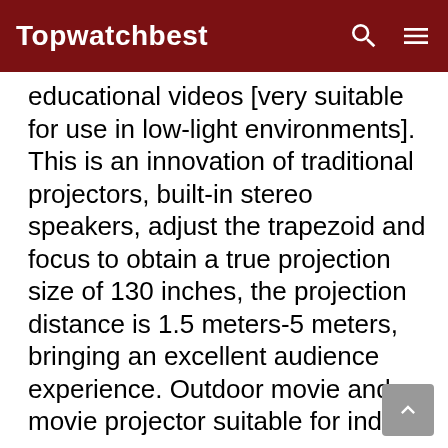Topwatchbest
educational videos [very suitable for use in low-light environments]. This is an innovation of traditional projectors, built-in stereo speakers, adjust the trapezoid and focus to obtain a true projection size of 130 inches, the projection distance is 1.5 meters-5 meters, bringing an excellent audience experience. Outdoor movie and movie projector suitable for indoor use.
Hi-Fi Level Speaker,High-quality sound effects Our Bloomidea movie projector can create 130-inch real high-definition images. At the same